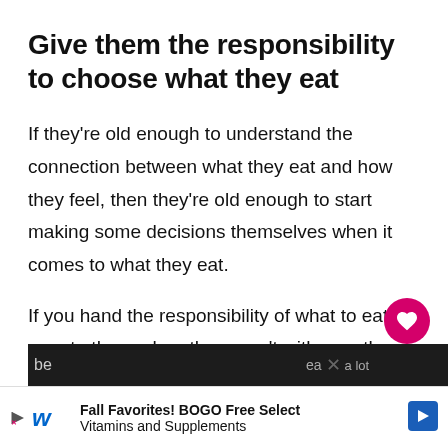Give them the responsibility to choose what they eat
If they're old enough to understand the connection between what they eat and how they feel, then they're old enough to start making some decisions themselves when it comes to what they eat.
If you hand the responsibility of what to eat over to them when they aren't with you, then they may just choose what will keep them feeling good!
You may need to remind them before they leave, or
[Figure (screenshot): Pink circular heart/like button, share icon with count of 1, and a 'WHAT'S NEXT' recommendation widget showing 'The Easiest Way to Find...']
[Figure (screenshot): Advertisement banner: Walgreens 'Fall Favorites! BOGO Free Select Vitamins and Supplements' with play icon, Walgreens logo, and navigation arrow]